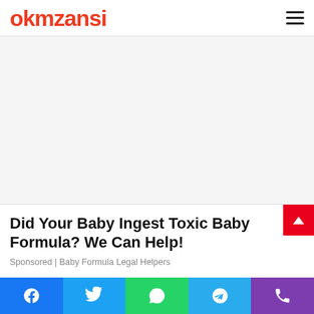okmzansi
[Figure (other): Advertisement / blank ad placeholder area]
Did Your Baby Ingest Toxic Baby Formula? We Can Help!
Sponsored | Baby Formula Legal Helpers
[Figure (infographic): Social sharing bar with Facebook, Twitter, WhatsApp, Telegram, and Phone icons]